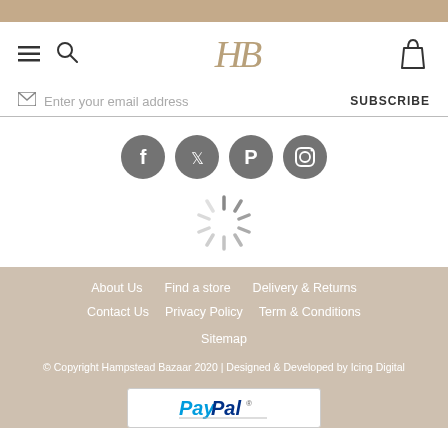[Figure (logo): HB logo for Hampstead Bazaar in tan/gold serif italic style]
Enter your email address
SUBSCRIBE
[Figure (illustration): Four grey circular social media icons: Facebook, Twitter, Pinterest, Instagram]
[Figure (illustration): Loading spinner graphic]
About Us   Find a store   Delivery & Returns
Contact Us   Privacy Policy   Term & Conditions
Sitemap
© Copyright Hampstead Bazaar 2020 | Designed & Developed by Icing Digital
[Figure (logo): PayPal logo in a white bordered rectangle]